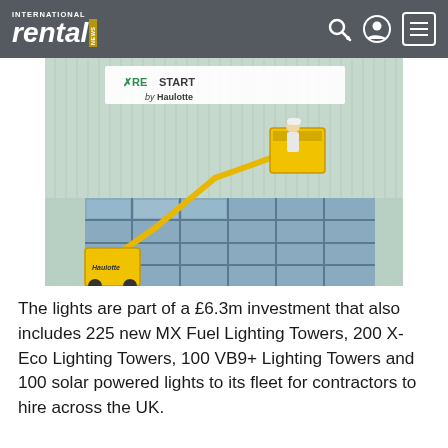INTERNATIONAL rental NEWS
[Figure (photo): A yellow Haulotte articulated boom lift with a worker in the basket, working near a building facade. A banner reading 'XRESTART by Haulotte' is visible in the background.]
The lights are part of a £6.3m investment that also includes 225 new MX Fuel Lighting Towers, 200 X-Eco Lighting Towers, 100 VB9+ Lighting Towers and 100 solar powered lights to its fleet for contractors to hire across the UK.